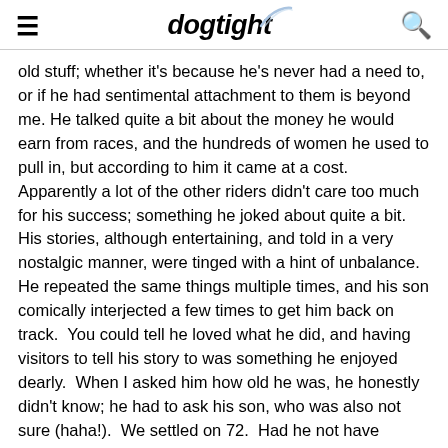dogtight [logo with hamburger menu and search icon]
old stuff; whether it's because he's never had a need to, or if he had sentimental attachment to them is beyond me. He talked quite a bit about the money he would earn from races, and the hundreds of women he used to pull in, but according to him it came at a cost.  Apparently a lot of the other riders didn't care too much for his success; something he joked about quite a bit.  His stories, although entertaining, and told in a very nostalgic manner, were tinged with a hint of unbalance.  He repeated the same things multiple times, and his son comically interjected a few times to get him back on track.  You could tell he loved what he did, and having visitors to tell his story to was something he enjoyed dearly.  When I asked him how old he was, he honestly didn't know; he had to ask his son, who was also not sure (haha!).  We settled on 72.  Had he not have injuries in both his wrists, I'm sure he'd still be riding...